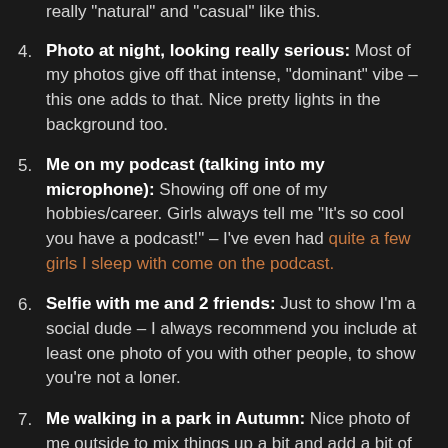really "natural" and "casual" like this.
4. Photo at night, looking really serious: Most of my photos give off that intense, "dominant" vibe – this one adds to that. Nice pretty lights in the background too.
5. Me on my podcast (talking into my microphone): Showing off one of my hobbies/career. Girls always tell me "It's so cool you have a podcast!" – I've even had quite a few girls I sleep with come on the podcast.
6. Selfie with me and 2 friends: Just to show I'm a social dude – I always recommend you include at least one photo of you with other people, to show you're not a loner.
7. Me walking in a park in Autumn: Nice photo of me outside to mix things up a bit and add a bit of variety to my profile.